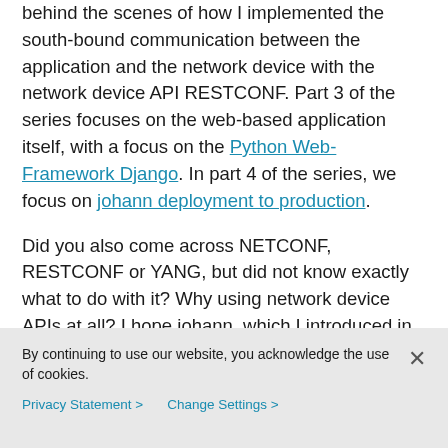behind the scenes of how I implemented the south-bound communication between the application and the network device with the network device API RESTCONF. Part 3 of the series focuses on the web-based application itself, with a focus on the Python Web-Framework Django. In part 4 of the series, we focus on johann deployment to production.
Did you also come across NETCONF, RESTCONF or YANG, but did not know exactly what to do with it? Why using network device APIs at all? I hope johann, which I introduced in Part 1, gives
By continuing to use our website, you acknowledge the use of cookies.
Privacy Statement > Change Settings >